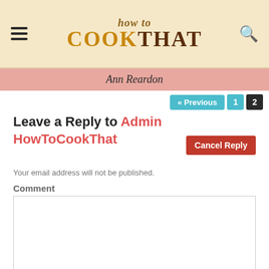how to COOKTHAT — Ann Reardon
« Previous  1  2
Leave a Reply to Admin HowToCookThat
Cancel Reply
Your email address will not be published.
Comment
Name *